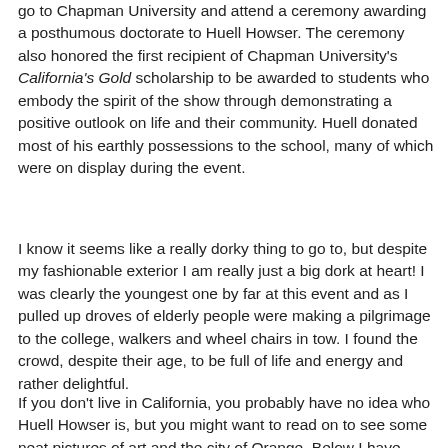go to Chapman University and attend a ceremony awarding a posthumous doctorate to Huell Howser. The ceremony also honored the first recipient of Chapman University's California's Gold scholarship to be awarded to students who embody the spirit of the show through demonstrating a positive outlook on life and their community. Huell donated most of his earthly possessions to the school, many of which were on display during the event.
I know it seems like a really dorky thing to go to, but despite my fashionable exterior I am really just a big dork at heart! I was clearly the youngest one by far at this event and as I pulled up droves of elderly people were making a pilgrimage to the college, walkers and wheel chairs in tow. I found the crowd, despite their age, to be full of life and energy and rather delightful.
If you don't live in California, you probably have no idea who Huell Howser is, but you might want to read on to see some neat pictures of art and the city of Orange. Below I have included